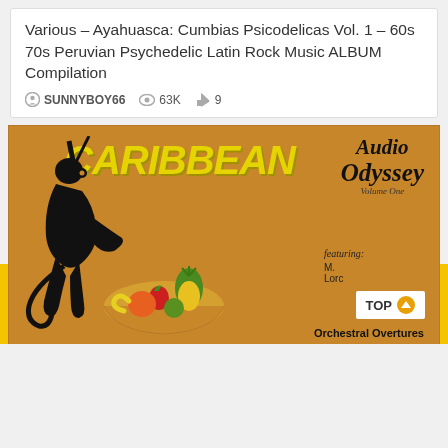Various – Ayahuasca: Cumbias Psicodelicas Vol. 1 – 60s 70s Peruvian Psychedelic Latin Rock Music ALBUM Compilation
SUNNYBOY66   63K   9
[Figure (illustration): Album cover for 'Caribbean Audio Odyssey Volume One' showing a stylized black monkey figure holding a fruit basket, with tropical fruits (pineapple, strawberry, melon, lime), yellow bold CARIBBEAN text, cursive Audio Odyssey lettering, on a brown/tan background. Features section lists M., Lorc, and Orchestral Overtures. TOP button overlay visible.]